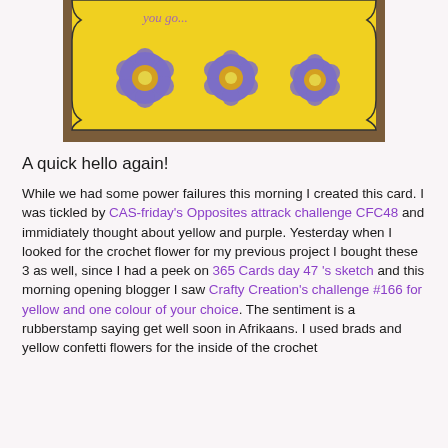[Figure (photo): A yellow greeting card with three purple crocheted flowers with sparkly centers, placed on a wooden surface. Script text visible at top.]
A quick hello again!
While we had some power failures this morning I created this card. I was tickled by CAS-friday's Opposites attrack challenge CFC48 and immidiately thought about yellow and purple. Yesterday when I looked for the crochet flower for my previous project I bought these 3 as well, since I had a peek on 365 Cards day 47 's sketch and this morning opening blogger I saw Crafty Creation's challenge #166 for yellow and one colour of your choice. The sentiment is a rubberstamp saying get well soon in Afrikaans. I used brads and yellow confetti flowers for the inside of the crochet